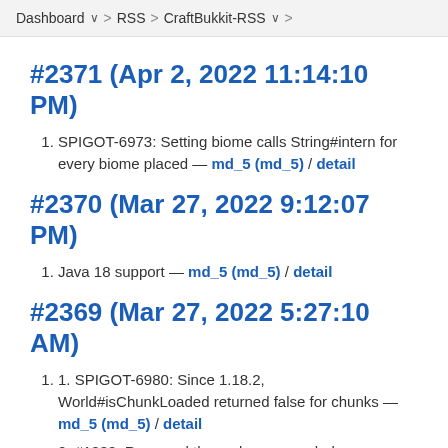Dashboard > RSS > CraftBukkit-RSS
#2371 (Apr 2, 2022 11:14:10 PM)
SPIGOT-6973: Setting biome calls String#intern for every biome placed — md_5 (md_5) / detail
#2370 (Mar 27, 2022 9:12:07 PM)
Java 18 support — md_5 (md_5) / detail
#2369 (Mar 27, 2022 5:27:10 AM)
SPIGOT-6980: Since 1.18.2, World#isChunkLoaded returned false for chunks — md_5 (md_5) / detail
#1038: Removed the no longer needed getChunkUnchecked method from — md_5 (md_5) / detail
#1039: Use correct ops in GeneratorSettings — md_5 (md_5) / detail